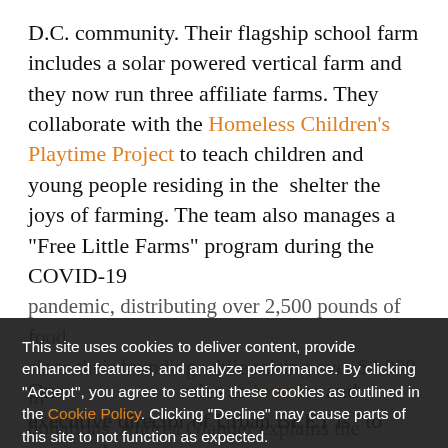D.C. community. Their flagship school farm includes a solar powered vertical farm and they now run three affiliate farms. They collaborate with the Homeless Children's Playtime Project to teach children and young people residing in the shelter the joys of farming. The team also manages a "Free Little Farms" program during the COVID-19 pandemic, distributing over 2,500 pounds of food since their founding while raising over $4,000 in donations. Andrea Glander explains the roles changemakers in their communities.
This site uses cookies to deliver content, provide enhanced features, and analyze performance. By clicking "Accept", you agree to setting these cookies as outlined in the Cookie Policy. Clicking "Decline" may cause parts of this site to not function as expected.
One roles as founder and executive director of Urban BEET is "to create other